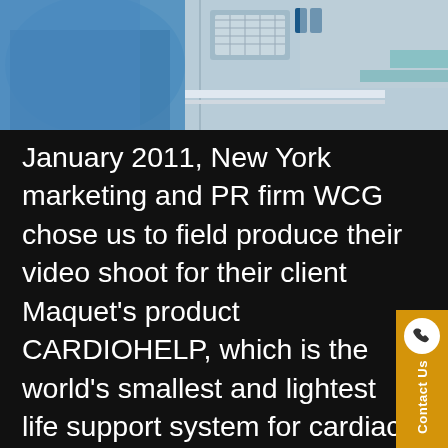[Figure (photo): Photo showing a person in a blue shirt on the left and medical/technical equipment in the background on the right, taken on location during a video shoot.]
January 2011, New York marketing and PR firm WCG chose us to field produce their video shoot for their client Maquet's product CARDIOHELP, which is the world's smallest and lightest life support system for cardiac support and respiratory assistance.  WCG's Director Scott Schindler worked with DP Bob Sloan to capture the dramatic footage of the product in action while transporting patients between hospital beds, an ambulance and a helicopter.  Shot on location in El Centro, CA, Bob chose to shoot on the Canon 5D DSLR camera, utilizing a cage system made by Zacuto for more stable